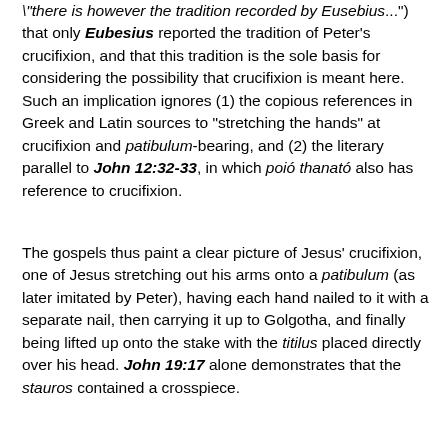"there is however the tradition recorded by Eusebius...") that only Eubesius reported the tradition of Peter's crucifixion, and that this tradition is the sole basis for considering the possibility that crucifixion is meant here. Such an implication ignores (1) the copious references in Greek and Latin sources to "stretching the hands" at crucifixion and patibulum-bearing, and (2) the literary parallel to John 12:32-33, in which poió thanató also has reference to crucifixion.
The gospels thus paint a clear picture of Jesus' crucifixion, one of Jesus stretching out his arms onto a patibulum (as later imitated by Peter), having each hand nailed to it with a separate nail, then carrying it up to Golgotha, and finally being lifted up onto the stake with the titilus placed directly over his head. John 19:17 alone demonstrates that the stauros contained a crosspiece.